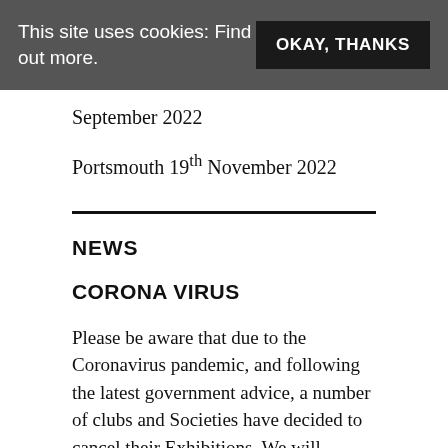This site uses cookies: Find out more.
OKAY, THANKS
September 2022
Portsmouth 19th November 2022
NEWS
CORONA VIRUS
Please be aware that due to the Coronavirus pandemic, and following the latest government advice, a number of clubs and Societies have decided to cancel their Exhibitions. We will